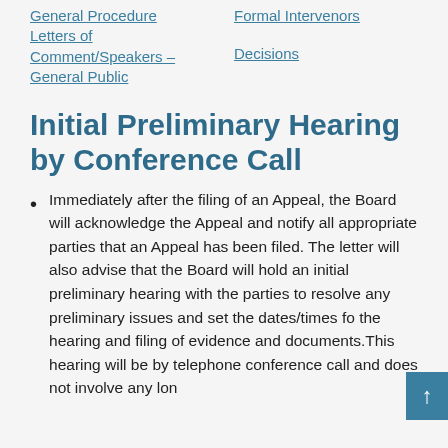General Procedure
Formal Intervenors
Letters of Comment/Speakers – General Public
Decisions
Initial Preliminary Hearing by Conference Call
Immediately after the filing of an Appeal, the Board will acknowledge the Appeal and notify all appropriate parties that an Appeal has been filed. The letter will also advise that the Board will hold an initial preliminary hearing with the parties to resolve any preliminary issues and set the dates/times fo the hearing and filing of evidence and documents.This hearing will be by telephone conference call and does not involve any lon